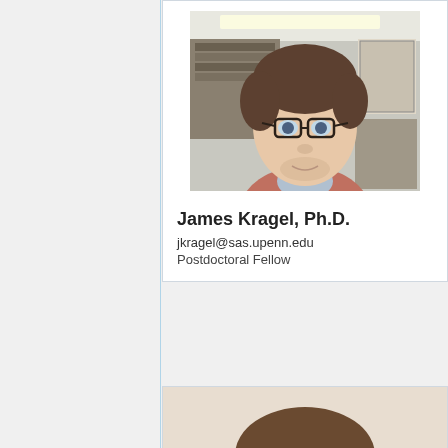[Figure (photo): Profile photo of James Kragel, Ph.D. — a young man with glasses, brown hair, wearing a red polo shirt with a light blue collar, standing in what appears to be an office or lab. A banner reading '2013' is visible in the background.]
James Kragel, Ph.D.
jkragel@sas.upenn.edu
Postdoctoral Fellow
[Figure (photo): Partial profile photo of a second person (only top of head/hair visible at bottom of page).]